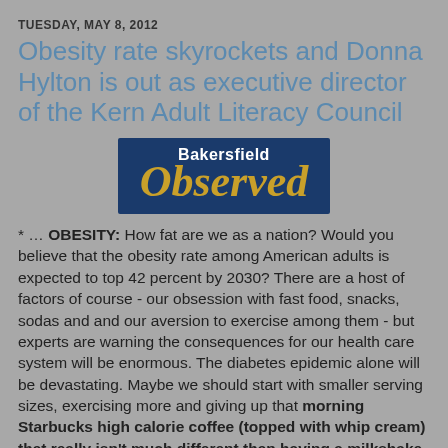TUESDAY, MAY 8, 2012
Obesity rate skyrockets and Donna Hylton is out as executive director of the Kern Adult Literacy Council
[Figure (logo): Bakersfield Observed logo — dark blue rectangle with 'Bakersfield' in white bold text above 'Observed' in large gold italic serif font]
* ... OBESITY: How fat are we as a nation? Would you believe that the obesity rate among American adults is expected to top 42 percent by 2030? There are a host of factors of course - our obsession with fast food, snacks, sodas and and our aversion to exercise among them - but experts are warning the consequences for our health care system will be enormous. The diabetes epidemic alone will be devastating. Maybe we should start with smaller serving sizes, exercising more and giving up that morning Starbucks high calorie coffee (topped with whip cream) that really isn't much different than having a milkshake